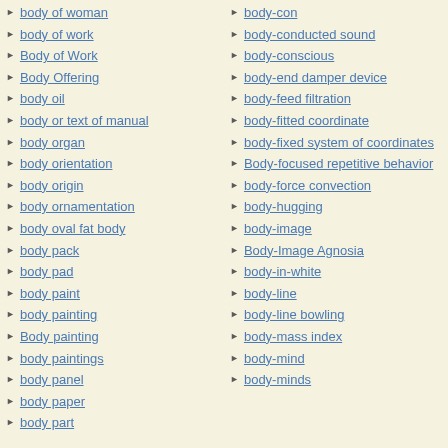body of woman
body of work
Body of Work
Body Offering
body oil
body or text of manual
body organ
body orientation
body origin
body ornamentation
body oval fat body
body pack
body pad
body paint
body painting
Body painting
body paintings
body panel
body paper
body part
body-con
body-conducted sound
body-conscious
body-end damper device
body-feed filtration
body-fitted coordinate
body-fixed system of coordinates
Body-focused repetitive behavior
body-force convection
body-hugging
body-image
Body-Image Agnosia
body-in-white
body-line
body-line bowling
body-mass index
body-mind
body-minds